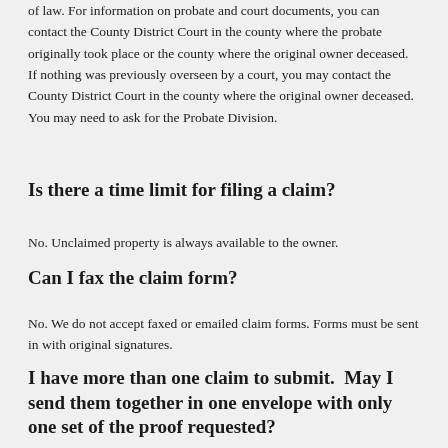of law. For information on probate and court documents, you can contact the County District Court in the county where the probate originally took place or the county where the original owner deceased. If nothing was previously overseen by a court, you may contact the County District Court in the county where the original owner deceased. You may need to ask for the Probate Division.
Is there a time limit for filing a claim?
No. Unclaimed property is always available to the owner.
Can I fax the claim form?
No. We do not accept faxed or emailed claim forms. Forms must be sent in with original signatures.
I have more than one claim to submit. May I send them together in one envelope with only one set of the proof requested?